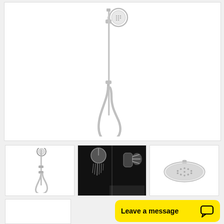[Figure (photo): Main product image of a chrome shower rail set with round hand shower head on sliding rail bar and looped flexible hose, on white background]
[Figure (photo): Thumbnail: Chrome shower column with round overhead head and hand shower on rail, white background]
[Figure (photo): Thumbnail: Dark background photo showing rain shower head in use with water flowing and hand shower]
[Figure (photo): Thumbnail: Round overhead chrome shower head plate, white background]
Leave a message